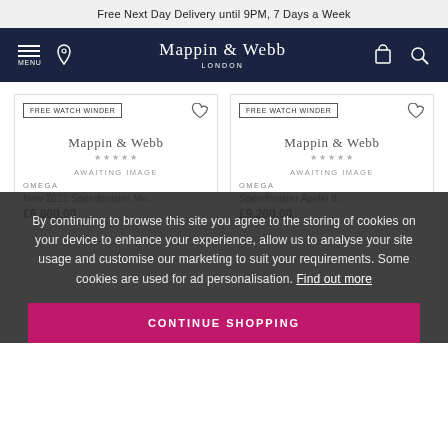Free Next Day Delivery until 9PM, 7 Days a Week
[Figure (logo): Mappin & Webb London logo with navigation icons (hamburger menu, location pin, shopping bag, search)]
[Figure (other): Two product cards showing Omega watches with FREE WATCH WINDER badge, heart/wishlist icon, Mappin & Webb watermark, AWAITING IMAGE placeholder, star ratings, OMEGA brand label, product names and prices. Left: New 2021 Speedmaster Moonwatch £6,800.00. Right: Speedmaster Apollo 8 £9,200.00]
By continuing to browse this site you agree to the storing of cookies on your device to enhance your experience, allow us to analyse your site usage and customise our marketing to suit your requirements. Some cookies are used for ad personalisation. Find out more
CONTINUE SHOPPING